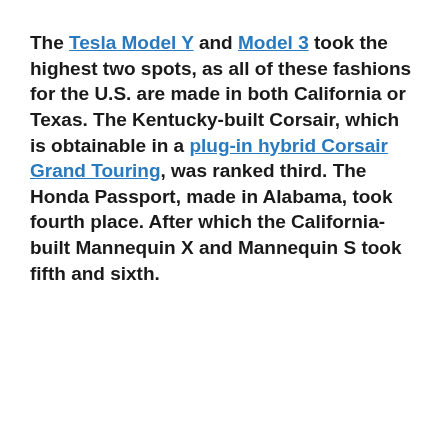The Tesla Model Y and Model 3 took the highest two spots, as all of these fashions for the U.S. are made in both California or Texas. The Kentucky-built Corsair, which is obtainable in a plug-in hybrid Corsair Grand Touring, was ranked third. The Honda Passport, made in Alabama, took fourth place. After which the California-built Mannequin X and Mannequin S took fifth and sixth.